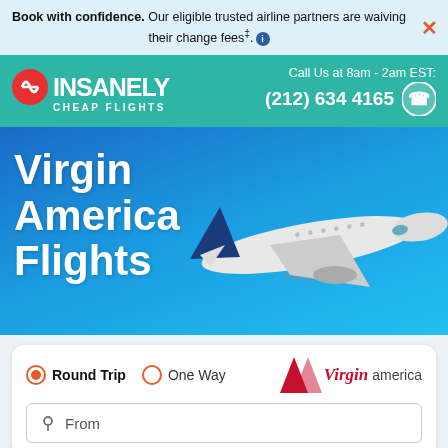Book with confidence. Our eligible trusted airline partners are waiving their change fees‡. ℹ
[Figure (screenshot): Insanely Cheap Flights website header with teal background, logo on left, and call us phone number (212) 634 4165 on right]
Virgin America Flights
[Figure (photo): Airplane flying against blue sky background]
Round Trip  One Way  Virgin america
From